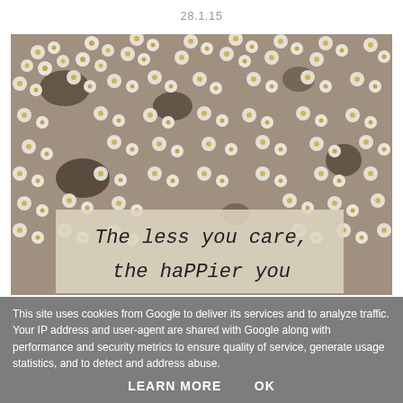28.1.15
[Figure (photo): A field of white daisy-like flowers covering the entire frame, with a quote overlay box at the bottom reading 'The less you care, the happier you']
This site uses cookies from Google to deliver its services and to analyze traffic. Your IP address and user-agent are shared with Google along with performance and security metrics to ensure quality of service, generate usage statistics, and to detect and address abuse.
LEARN MORE    OK